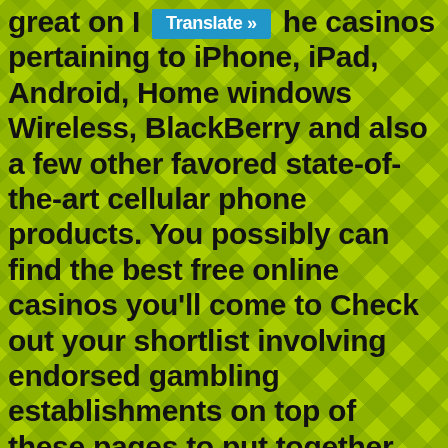great on I [Translate »] he casinos pertaining to iPhone, iPad, Android, Home windows Wireless, BlackBerry and also a few other favored state-of-the-art cellular phone products. You possibly can find the best free online casinos you'll come to Check out your shortlist involving endorsed gambling establishments on top of these pages to put together started.
In the event that you desire a cellular innovative gambling house that could provide athletics celebration and cutting